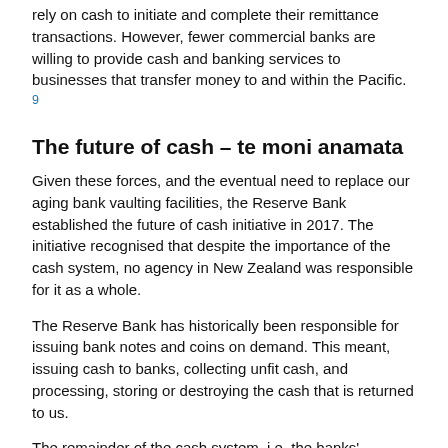rely on cash to initiate and complete their remittance transactions. However, fewer commercial banks are willing to provide cash and banking services to businesses that transfer money to and within the Pacific. 9
The future of cash – te moni anamata
Given these forces, and the eventual need to replace our aging bank vaulting facilities, the Reserve Bank established the future of cash initiative in 2017. The initiative recognised that despite the importance of the cash system, no agency in New Zealand was responsible for it as a whole.
The Reserve Bank has historically been responsible for issuing bank notes and coins on demand. This meant, issuing cash to banks, collecting unfit cash, and processing, storing or destroying the cash that is returned to us.
The remainder of the cash system, i.e. the banks' distribution of cash to the public and the transportation of cash to and from retailers (Figure 3) has been held together by a set of informal arrangements and commercial incentives.